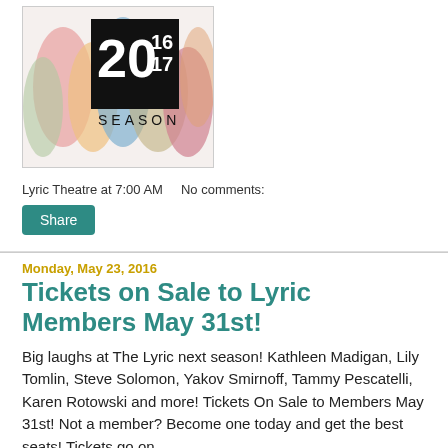[Figure (illustration): 2016/17 Season promotional image with colorful silhouettes of performers and a black box showing '20 16/17 SEASON' text]
Lyric Theatre at 7:00 AM   No comments:
Share
Monday, May 23, 2016
Tickets on Sale to Lyric Members May 31st!
Big laughs at The Lyric next season! Kathleen Madigan, Lily Tomlin, Steve Solomon, Yakov Smirnoff, Tammy Pescatelli, Karen Rotowski and more! Tickets On Sale to Members May 31st! Not a member? Become one today and get the best seats! Tickets go on sale to the public - Sept. 6.
[Figure (illustration): Red and white banner image showing MAY 31 and text 'Tickets on Sale to']